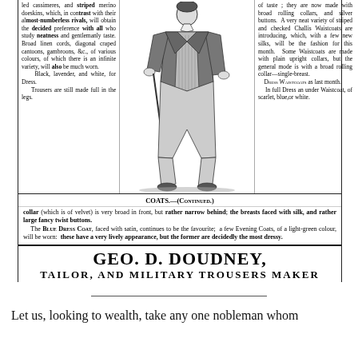led cassimeres, and striped merino doe-skins, which, in contrast with their almost-numberless rivals, will obtain the decided preference with all who study neatness and gentlemanly taste. Broad linen cords, diagonal craped cantoons, gambroons, &c., of various colours, of which there is an infinite variety, will also be much worn.
    Black, lavender, and white, for Dress.
    Trousers are still made full in the legs.
[Figure (illustration): Engraving of a gentleman in early 19th century fashion: tailcoat, waistcoat, trousers, holding a cane.]
of taste; they are now made with broad rolling collars, and silver buttons. A very neat variety of striped and checked Challis Waistcoats are introducing, which, with a few new silks, will be the fashion for this month. Some Waistcoats are made with plain upright collars, but the general mode is with a broad rolling collar—single-breast.
    Dress Waistcoats as last month.
    In full Dress an under Waistcoat, of scarlet, blue, or white.
COATS.—(Continued.)
collar (which is of velvet) is very broad in front, but rather narrow behind; the breasts faced with silk, and rather large fancy twist buttons.
    The Blue Dress Coat, faced with satin, continues to be the favourite; a few Evening Coats, of a light-green colour, will be worn: these have a very lively appearance, but the former are decidedly the most dressy.
GEO. D. DOUDNEY,
TAILOR, AND MILITARY TROUSERS MAKER
Let us, looking to wealth, take any one nobleman whom